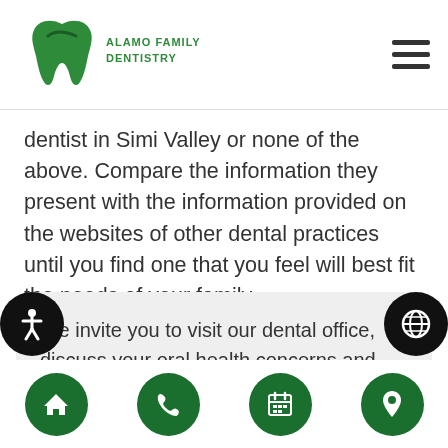[Figure (logo): Alamo Family & Implant Dentistry logo with green tooth icon]
dentist in Simi Valley or none of the above. Compare the information they present with the information provided on the websites of other dental practices until you find one that you feel will best fit the needs of your family.
We invite you to visit our dental office, discuss your oral health concerns and learn how we can provide solutions for all of your family's dental needs.
[Figure (infographic): Bottom navigation bar with four green circular icon buttons: home, phone, calendar, location pin]